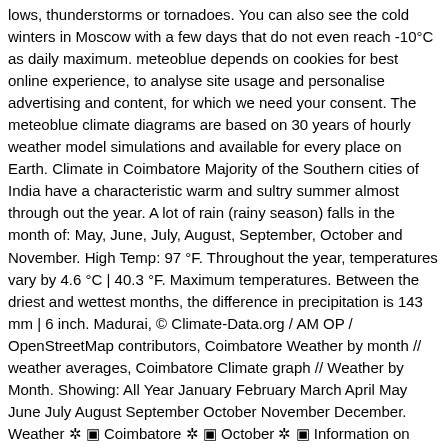lows, thunderstorms or tornadoes. You can also see the cold winters in Moscow with a few days that do not even reach -10°C as daily maximum. meteoblue depends on cookies for best online experience, to analyse site usage and personalise advertising and content, for which we need your consent. The meteoblue climate diagrams are based on 30 years of hourly weather model simulations and available for every place on Earth. Climate in Coimbatore Majority of the Southern cities of India have a characteristic warm and sultry summer almost through out the year. A lot of rain (rainy season) falls in the month of: May, June, July, August, September, October and November. High Temp: 97 °F. Throughout the year, temperatures vary by 4.6 °C | 40.3 °F. Maximum temperatures. Between the driest and wettest months, the difference in precipitation is 143 mm | 6 inch. Madurai, © Climate-Data.org / AM OP / OpenStreetMap contributors, Coimbatore Weather by month // weather averages, Coimbatore Climate graph // Weather by Month. Showing: All Year January February March April May June July August September October November December. Weather ✲ ▣ Coimbatore ✲ ▣ October ✲ ▣ Information on temperature, sunshine hours, water temperature & rainfall in October for Coimbatore. The forests of Coimbatore district spread over an area of 693.48 km 2 against district area of 7433.72 km 2. 73°. The closest Airports of Coimbatore are: Coimbatore Airport (CJB) 8.91km,Calicut International Airport (CCJ) 111.52km,Cochin International Airport (COK) 112.99km, You can reach Coimbatore from this